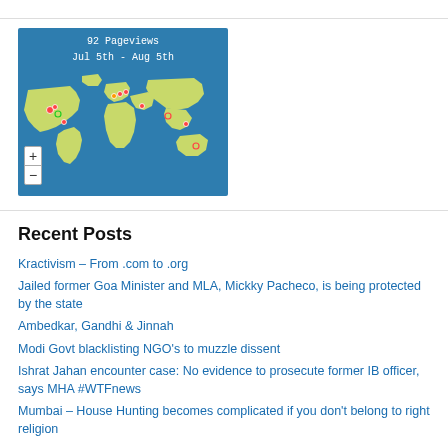[Figure (map): World map showing 92 pageviews from Jul 5th to Aug 5th, with colored dot markers on various countries across North America, Europe, Middle East, South Asia, Southeast Asia, and Australia.]
Recent Posts
Kractivism – From .com to .org
Jailed former Goa Minister and MLA, Mickky Pacheco, is being protected by the state
Ambedkar, Gandhi & Jinnah
Modi Govt blacklisting NGO's to muzzle dissent
Ishrat Jahan encounter case: No evidence to prosecute former IB officer, says MHA #WTFnews
Mumbai – House Hunting becomes complicated if you don't belong to right religion